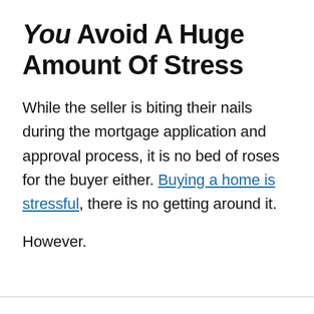You Avoid A Huge Amount Of Stress
While the seller is biting their nails during the mortgage application and approval process, it is no bed of roses for the buyer either. Buying a home is stressful, there is no getting around it.
However.